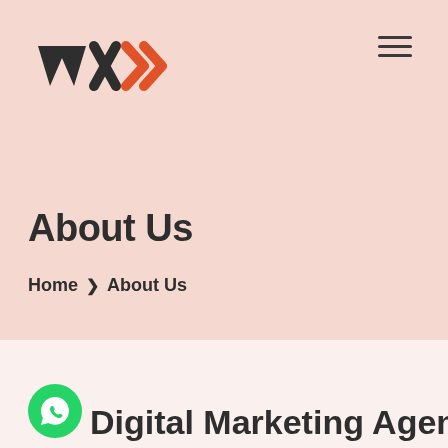[Figure (logo): WXD logo with dark and orange lettering]
[Figure (illustration): Hamburger menu icon (three horizontal lines)]
About Us
Home > About Us
[Figure (illustration): WhatsApp green circle icon]
Digital Marketing Agency Offering